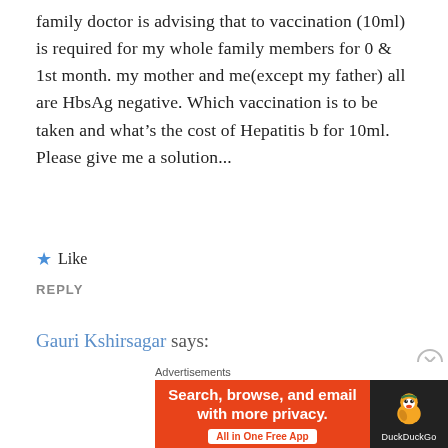family doctor is advising that to vaccination (10ml) is required for my whole family members for 0 & 1st month. my mother and me(except my father) all are HbsAg negative. Which vaccination is to be taken and what's the cost of Hepatitis b for 10ml. Please give me a solution...
★ Like
REPLY
Gauri Kshirsagar says:
June 7, 2017 at 8:16 pm
Hi,

Hepatitis vaccine is quite affordable and is available in most of the medical centres.
[Figure (screenshot): DuckDuckGo advertisement banner: orange left panel with text 'Search, browse, and email with more privacy. All in One Free App' and dark right panel with DuckDuckGo duck logo and label 'DuckDuckGo']